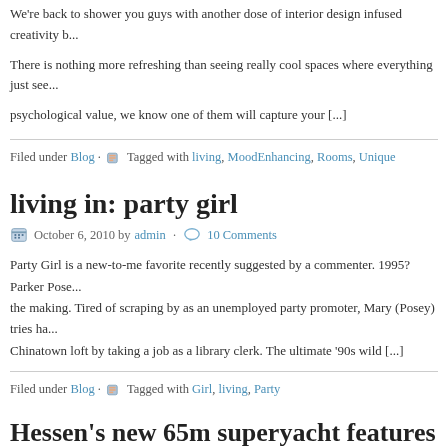We're back to shower you guys with another dose of interior design infused creativity b...
There is nothing more refreshing than seeing really cool spaces where everything just see... psychological value, we know one of them will capture your [...]
Filed under Blog · Tagged with living, MoodEnhancing, Rooms, Unique
living in: party girl
October 6, 2010 by admin · 10 Comments
Party Girl is a new-to-me favorite recently suggested by a commenter. 1995? Parker Pose... the making. Tired of scraping by as an unemployed party promoter, Mary (Posey) tries ha... Chinatown loft by taking a job as a library clerk. The ultimate '90s wild [...]
Filed under Blog · Tagged with Girl, living, Party
Hessen's new 65m superyacht features side-balcony f...